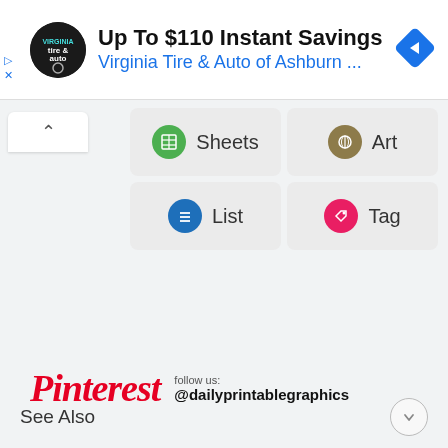[Figure (screenshot): Ad banner for Virginia Tire & Auto of Ashburn with logo, title 'Up To $110 Instant Savings', subtitle 'Virginia Tire & Auto of Ashburn ...', navigation arrow diamond icon, and play/close side icons]
[Figure (screenshot): UI grid with four buttons: Sheets (green icon), Art (olive icon), List (blue icon), Tag (pink icon), with an up-arrow toggle button on the left]
[Figure (logo): Pinterest logo in red italic script font with 'follow us: @dailyprintablegraphics' text]
See Also